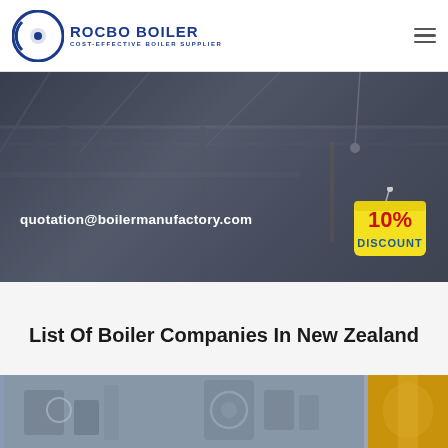[Figure (logo): Rocbo Boiler logo with circular arc icon and text 'ROCBO BOILER' and subtitle 'COST-EFFECTIVE BOILER SUPPLIER']
[Figure (photo): Industrial boiler factory interior hero banner showing dark grey industrial building with beams and crane, with email address and 10% discount badge overlay]
List Of Boiler Companies In New Zealand
[Figure (photo): Industrial boiler equipment photo strip at bottom of page showing grey industrial machinery on left and yellow equipment on right]